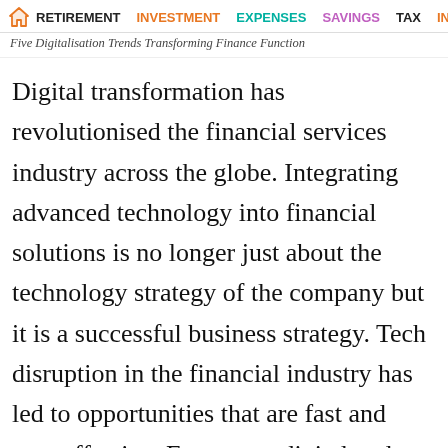RETIREMENT  INVESTMENT  EXPENSES  SAVINGS  TAX  INSURANCE
Five Digitalisation Trends Transforming Finance Function
Digital transformation has revolutionised the financial services industry across the globe. Integrating advanced technology into financial solutions is no longer just about the technology strategy of the company but it is a successful business strategy. Tech disruption in the financial industry has led to opportunities that are fast and cost-effective. From easy digital and cashless payments enabled by UPI, IMPS, or NEFT to cost-effective banking solutions, easy loans, seamless investment platforms, and online